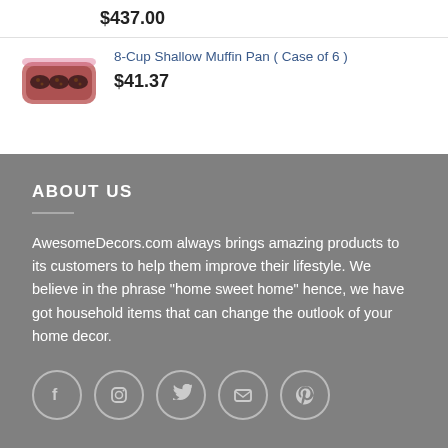$437.00
[Figure (photo): Photo of 8-Cup Shallow Muffin Pan product]
8-Cup Shallow Muffin Pan ( Case of 6 )
$41.37
ABOUT US
AwesomeDecors.com always brings amazing products to its customers to help them improve their lifestyle. We believe in the phrase "home sweet home" hence, we have got household items that can change the outlook of your home decor.
[Figure (infographic): Social media icons: Facebook, Instagram, Twitter, Email, Pinterest]